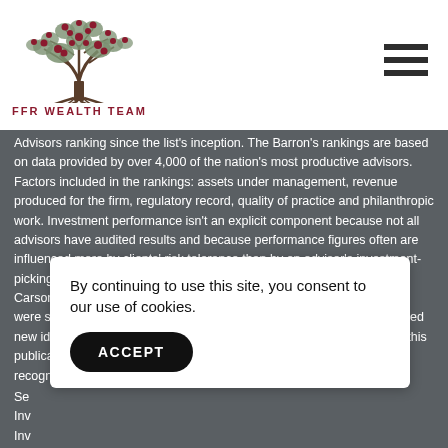[Figure (logo): FFR Wealth Team logo: stylized tree with dark branches and red berries/fruits, with roots at the bottom]
Advisors ranking since the list's inception. The Barron's rankings are based on data provided by over 4,000 of the nation's most productive advisors. Factors included in the rankings: assets under management, revenue produced for the firm, regulatory record, quality of practice and philanthropic work. Investment performance isn't an explicit component because not all advisors have audited results and because performance figures often are influenced more by clients' risk tolerance than by an advisor's investment-picking abilities. Investment News Icons & Innovators: Awarded to Ron Carson (2016) Investment News Icons and Innovators award recipients were selected based on the broad definition of, those who have conceived new ideas and tools that have propelled the industry forward. Listing in this publication is not a guarantee of future investment success. This recognition should not...
By continuing to use this site, you consent to our use of cookies.
Se...
Inv...
Inv...